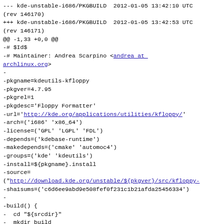--- kde-unstable-i686/PKGBUILD  2012-01-05 13:42:10 UTC (rev 146170)
+++ kde-unstable-i686/PKGBUILD  2012-01-05 13:42:53 UTC (rev 146171)
@@ -1,33 +0,0 @@
-# $Id$
-# Maintainer: Andrea Scarpino <andrea at archlinux.org>
-
-pkgname=kdeutils-kfloppy
-pkgver=4.7.95
-pkgrel=1
-pkgdesc='Floppy Formatter'
-url='http://kde.org/applications/utilities/kfloppy/'
-arch=('i686' 'x86_64')
-license=('GPL' 'LGPL' 'FDL')
-depends=('kdebase-runtime')
-makedepends=('cmake' 'automoc4')
-groups=('kde' 'kdeutils')
-install=${pkgname}.install
-source=
("http://download.kde.org/unstable/${pkgver}/src/kfloppy-
-sha1sums=('c6d6ee9abd9e508fef0f231c1b21afda25456334')
-
-build() {
-  cd "${srcdir}"
-  mkdir build
-  cd build
-  cmake ../kfloppy-${pkgver} \
-    -DCMAKE_BUILD_TYPE=Release \
-      -DCMAKE_INSTALL_PREFIX=/usr \